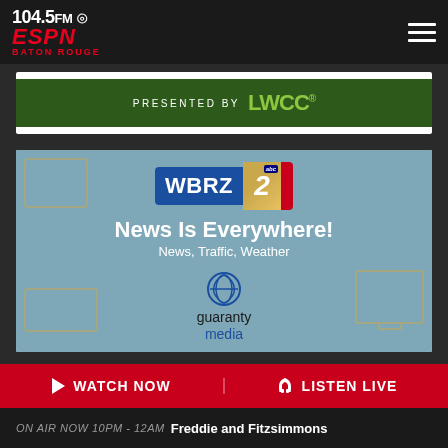104.5FM ESPN Baton Rouge
[Figure (advertisement): LWCC advertisement banner with green background saying PRESENTED BY LWCC]
[Figure (advertisement): WBRZ 2 ABC / Guaranty Media advertisement with News Is Everywhere! News, Traffic, Weather text]
WATCH NOW
LISTEN LIVE
ON AIR NOW 10PM - 12AM  Freddie and Fitzsimmons